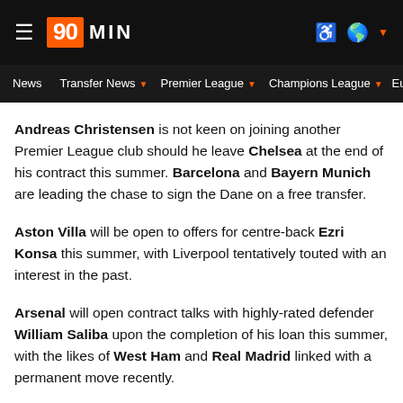90MIN — navigation header
Andreas Christensen is not keen on joining another Premier League club should he leave Chelsea at the end of his contract this summer. Barcelona and Bayern Munich are leading the chase to sign the Dane on a free transfer.
Aston Villa will be open to offers for centre-back Ezri Konsa this summer, with Liverpool tentatively touted with an interest in the past.
Arsenal will open contract talks with highly-rated defender William Saliba upon the completion of his loan this summer, with the likes of West Ham and Real Madrid linked with a permanent move recently.
Patrick Vieira has insisted that while Chelsea loanee Conor Gallagher is very happy at Crystal Palace, he would not be